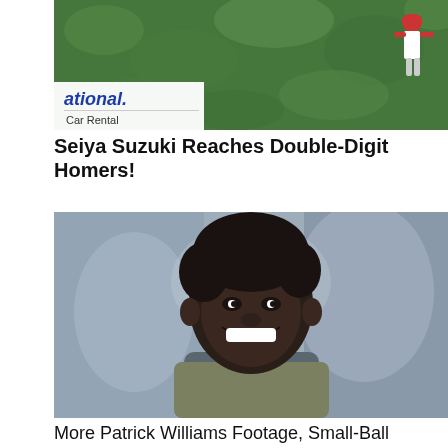[Figure (photo): Baseball outfielder in red cap seen from above running near ivy-covered outfield wall with National Car Rental advertisement visible]
Seiya Suzuki Reaches Double-Digit Homers!
[Figure (photo): Young Black man smiling broadly, wearing olive green shirt, photographed indoors with blurred background]
More Patrick Williams Footage, Small-Ball Potential, an All-Star Pro-AM Cut Short, and Other Bulls Bullets